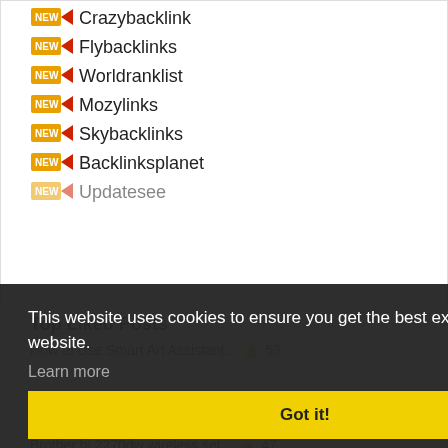Crazybacklink
Flybacklinks
Worldranklist
Mozylinks
Skybacklinks
Backlinksplanet
Updatesee
Top Liked Posts
This website uses cookies to ensure you get the best experience on our website.
Learn more
Add Konica Printer On Window 1.. 50
Got it!
How to setup brother printer o.. 48
Brother hl 2270dw wireless set... 47